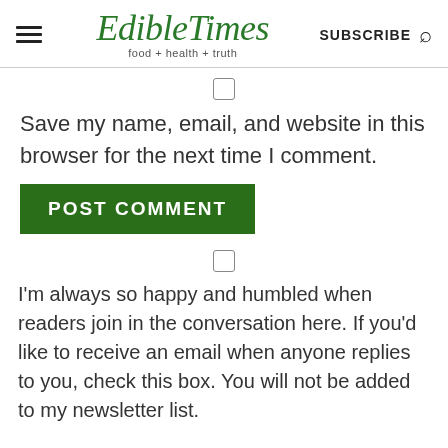EdibleTimes food + health + truth | SUBSCRIBE
Save my name, email, and website in this browser for the next time I comment.
POST COMMENT
I'm always so happy and humbled when readers join in the conversation here. If you'd like to receive an email when anyone replies to you, check this box. You will not be added to my newsletter list.